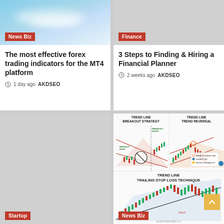[Figure (photo): Blue sky with clouds, card image for News Biz article]
News Biz
The most effective forex trading indicators for the MT4 platform
1 day ago  AKDSEO
[Figure (photo): Gray placeholder image for Finance article]
Finance
3 Steps to Finding & Hiring a Financial Planner
2 weeks ago  AKDSEO
[Figure (photo): Gray placeholder image for Startup article]
Startup
[Figure (illustration): Trend line trading strategy infographic showing: Trend Line Breakout Strategy (top left), Trend Line Trend Reversal (top right), Trend Line Trailing Stop Loss Technique (bottom). Candlestick charts with annotation lines and legend.]
News Biz